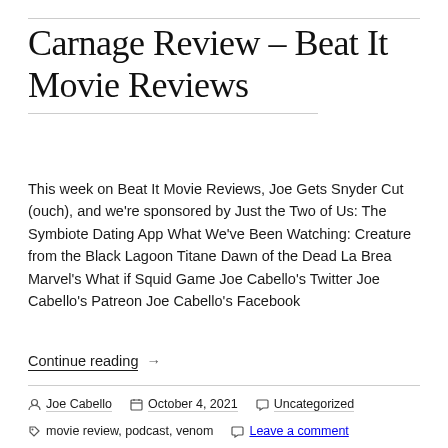Carnage Review – Beat It Movie Reviews
This week on Beat It Movie Reviews, Joe Gets Snyder Cut (ouch), and we're sponsored by Just the Two of Us: The Symbiote Dating App What We've Been Watching: Creature from the Black Lagoon Titane Dawn of the Dead La Brea Marvel's What if Squid Game Joe Cabello's Twitter Joe Cabello's Patreon Joe Cabello's Facebook
Continue reading →
Joe Cabello   October 4, 2021   Uncategorized   movie review, podcast, venom   Leave a comment